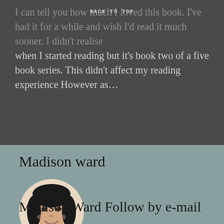BACK TO TOP
I can tell you how much I loved this book. I've had it for a while and wish I'd read it much sooner. I didn't realise when I started reading but it's book two of a five book series. This didn't affect my reading experience However as…
Madison ward
[Figure (photo): Circular profile photo of Madison Ward, a woman with dark hair smiling]
Madison Ward Follow by e-mail